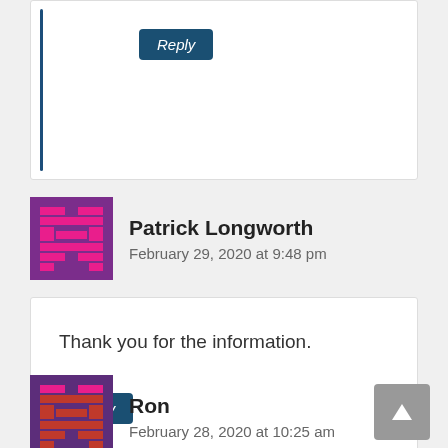[Figure (other): Reply button for a previous comment with left indent line]
Patrick Longworth
February 29, 2020 at 9:48 pm
Thank you for the information.
Reply
Ron
February 28, 2020 at 10:25 am